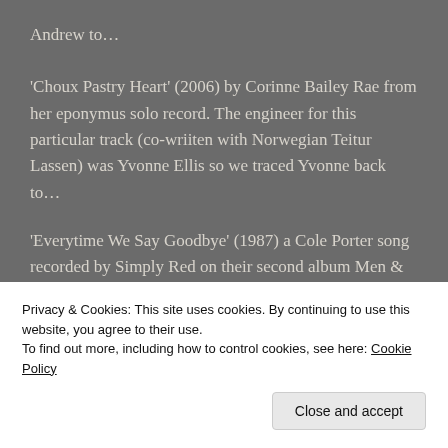Andrew to…
'Choux Pastry Heart' (2006) by Corinne Bailey Rae from her eponymus solo record. The engineer for this particular track (co-wriiten with Norwegian Teitur Lassen) was Yvonne Ellis so we traced Yvonne back to…
'Everytime We Say Goodbye' (1987) a Cole Porter song recorded by Simply Red on their second album Men & Women. We then heard another Cole Porter song…
'Anything Goes' (1956) song by Frank Sinatra from his
Privacy & Cookies: This site uses cookies. By continuing to use this website, you agree to their use.
To find out more, including how to control cookies, see here: Cookie Policy
Close and accept